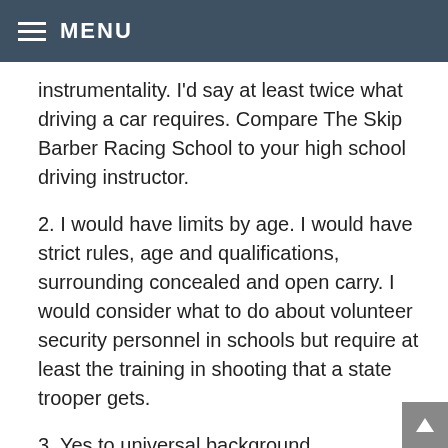MENU
instrumentality. I'd say at least twice what driving a car requires. Compare The Skip Barber Racing School to your high school driving instructor.
2. I would have limits by age. I would have strict rules, age and qualifications, surrounding concealed and open carry. I would consider what to do about volunteer security personnel in schools but require at least the training in shooting that a state trooper gets.
3. Yes to universal background